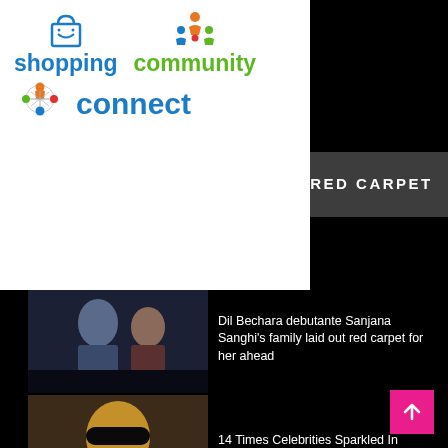[Figure (logo): Shopping Community Connect logo with shopping bag icon, community people icon, and connect with colorful star icon]
RED CARPET
Dil Bechara debutante Sanjana Sanghi's family laid out red carpet for her ahead
14 Times Celebrities Sparkled In Chanel Jewellery
Greatest on the Gridiron: '70 Temple vs. '81 St. Aloysius – The...
Coronavirus: Masks and social distancing at first film premiere since lockdown |